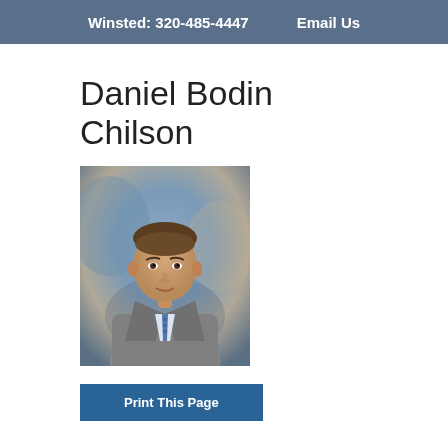Winsted: 320-485-4447    Email Us
Daniel Bodin Chilson
[Figure (photo): Professional headshot of Daniel Bodin Chilson, a young man in a grey suit with a blue patterned tie, photographed against a muted blue-grey studio background.]
Print This Page